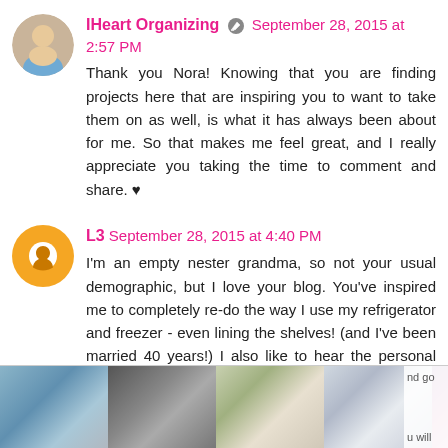IHeart Organizing ✏ September 28, 2015 at 2:57 PM
Thank you Nora! Knowing that you are finding projects here that are inspiring you to want to take them on as well, is what it has always been about for me. So that makes me feel great, and I really appreciate you taking the time to comment and share. ♥
L3  September 28, 2015 at 4:40 PM
I'm an empty nester grandma, so not your usual demographic, but I love your blog. You've inspired me to completely re-do the way I use my refrigerator and freezer - even lining the shelves! (and I've been married 40 years!) I also like to hear the personal stories. Like, how does your family take to changes in their routines, and
[Figure (screenshot): Advertisement banner at bottom showing rug/furniture images and Ashley Furniture logo]